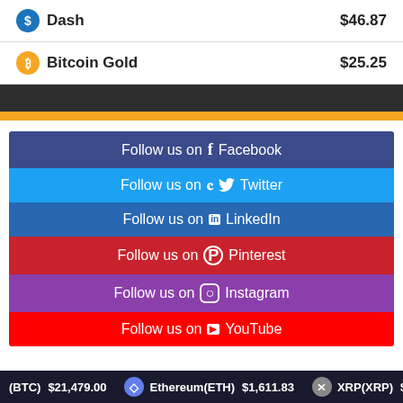| Coin | Price |
| --- | --- |
| Dash | $46.87 |
| Bitcoin Gold | $25.25 |
[Figure (infographic): Dark banner with gold stripe below, decorative separator]
Follow us on Facebook
Follow us on Twitter
Follow us on LinkedIn
Follow us on Pinterest
Follow us on Instagram
Follow us on YouTube
Bitcoin(BTC) $21,479.00  Ethereum(ETH) $1,611.83  XRP(XRP) $0.3...